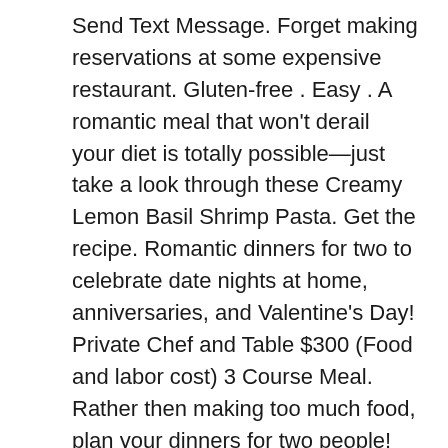Send Text Message. Forget making reservations at some expensive restaurant. Gluten-free . Easy . A romantic meal that won't derail your diet is totally possible—just take a look through these Creamy Lemon Basil Shrimp Pasta. Get the recipe. Romantic dinners for two to celebrate date nights at home, anniversaries, and Valentine's Day! Private Chef and Table $300 (Food and labor cost) 3 Course Meal. Rather then making too much food, plan your dinners for two people! Never mind Valentines Day, if you need dinner ideas for two every single day of the week, you're in the right place for inspiration. More. Black Pepper Tofu Stir Fry Get this easy seafood dinners for two recipe here. With a delicious 3 course dinner for two or maybe 4.. Make It A Double Date At Additional Cost. Next level spaghetti carbonara. The beauty of one-pot meals is that you have the option make it as healthy and as tasty as can be with the least effort. Chef will come to your home and serve you and